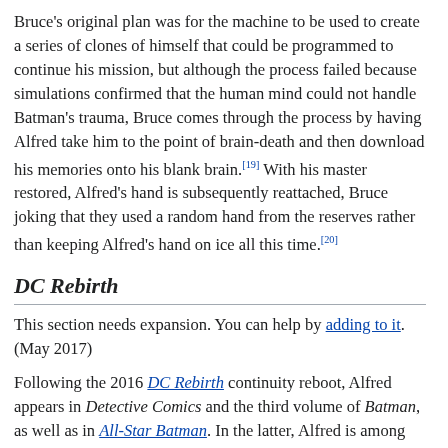Bruce's original plan was for the machine to be used to create a series of clones of himself that could be programmed to continue his mission, but although the process failed because simulations confirmed that the human mind could not handle Batman's trauma, Bruce comes through the process by having Alfred take him to the point of brain-death and then download his memories onto his blank brain.[19] With his master restored, Alfred's hand is subsequently reattached, Bruce joking that they used a random hand from the reserves rather than keeping Alfred's hand on ice all this time.[20]
DC Rebirth
This section needs expansion. You can help by adding to it. (May 2017)
Following the 2016 DC Rebirth continuity reboot, Alfred appears in Detective Comics and the third volume of Batman, as well as in All-Star Batman. In the latter, Alfred is among the many Gotham citizens blackmailed by Two-Face into stopping Batman from providing his former self, Harvey Dent, a cure for his split personality; Alfred in particular reluctantly shoots down the Batwing as Batman is flying it. When asked, Alfred reveals his secret: years earlier, he had hired a hit man to kill the Joker after